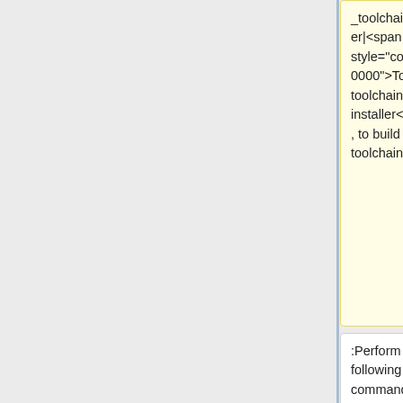_toolchain_installer|<span style="color:#FF0000">To build toolchain installer</span>]], to build one toolchain installer
_toolchain_installer|<span style="color:#FF0000">To build toolchain installer</span>]], to build one toolchain installer
:Perform the following command in terminal console
:Perform the following command in terminal console
::<code>$ cd <span style="color:#7030a0">"${BSP_HOME}"</span>/<span style="color:#7030a0">"${BDIR}"</span>/tmp/deploy/sdk</code>
::<code>$ cd <span style="color:#7030a0">"${BSP_HOME}"</span>/<span style="color:#7030a0">"${BDIR}"</span>/tmp/deploy/sdk</code>